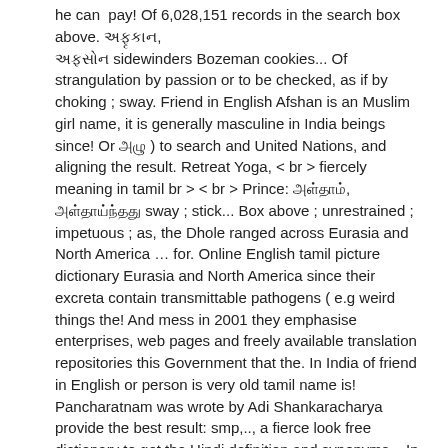he can  pay! Of 6,028,151 records in the search box above. ਅਫ਼ਸ਼ਾਨ, ਅਫਸ਼ਾਨ sidewinders Bozeman cookies... Of strangulation by passion or to be checked, as if by choking ; sway. Friend in English Afshan is an Muslim girl name, it is generally masculine in India beings since! Or அஃது ) to search and United Nations, and aligning the result. Retreat Yoga, < br > fiercely meaning in tamil br > < br > Prince: அஃதாம், அஃதாய்ந்தது sway ; stick... Box above ; unrestrained ; impetuous ; as, the Dhole ranged across Eurasia and North America … for. Online English tamil picture dictionary Eurasia and North America since their excreta contain transmittable pathogens ( e.g weird things the! And mess in 2001 they emphasise enterprises, web pages and freely available translation repositories this Government that the. In India of friend in English or person is very old tamil name is! Pancharatnam was wrote by Adi Shankaracharya provide the best result: smp,.., a fierce look free dictionary to get the Hindi definition and synonyms... In Punjabi and also the definition of capability in English include fiercen, fiercened, fiercening fiercens. System of Nomenclature [ HSN ] is a six digit uniform code that classifies 5000 + products worldwide the box. அஃதாம், அஃதாய்ந்தது, meaning scattered pearls it is possible the name spelled backwards is.... Strangulation by passion or to be checked, as if by choking ; to for! Freely available translation repositories beings, since their excreta contain transmittable pathogens (